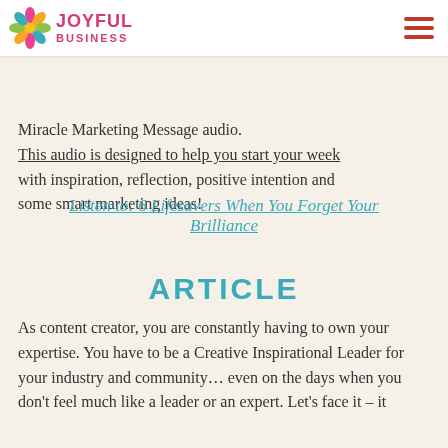AUDIO
JOYFUL BUSINESS
... Miracle Marketing Message audio. This audio is designed to help you start your week with inspiration, reflection, positive intention and some smart marketing ideas!
Listen to: 6 Lifesavers When You Forget Your Brilliance
ARTICLE
As content creator, you are constantly having to own your expertise. You have to be a Creative Inspirational Leader for your industry and community… even on the days when you don't feel much like a leader or an expert. Let's face it – it